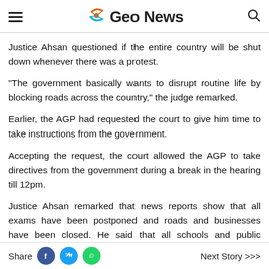Geo News
Justice Ahsan questioned if the entire country will be shut down whenever there was a protest.
"The government basically wants to disrupt routine life by blocking roads across the country," the judge remarked.
Earlier, the AGP had requested the court to give him time to take instructions from the government.
Accepting the request, the court allowed the AGP to take directives from the government during a break in the hearing till 12pm.
Justice Ahsan remarked that news reports show that all exams have been postponed and roads and businesses have been closed. He said that all schools and public transport services are shut, with an emergency imposed on the hospitals in the
Share   Next Story >>>